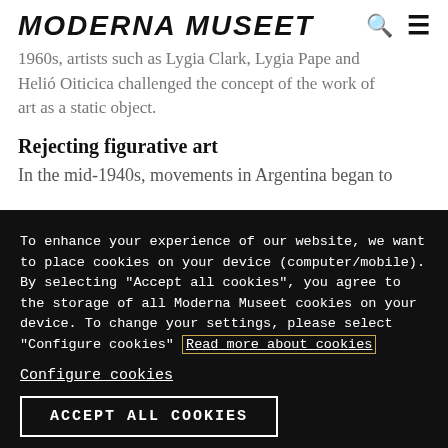MODERNA MUSEET
1960s, artists such as Lygia Clark, Lygia Pape and Helió Oiticica challenged the concept of the work of art as a static object.
Rejecting figurative art
In the mid-1940s, movements in Argentina began to
To enhance your experience of our website, we want to place cookies on your device (computer/mobile). By selecting "Accept all cookies", you agree to the storage of all Moderna Museet cookies on your device. To change your settings, please select "Configure cookies" Read more about cookies
Configure cookies
ACCEPT ALL COOKIES